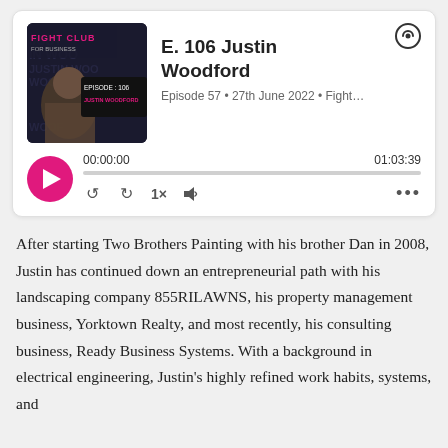[Figure (screenshot): Podcast player card for 'E. 106 Justin Woodford', Episode 57, 27th June 2022, Fight Club for Business. Shows thumbnail image with 'FIGHT CLUB FOR BUSINESS EPISODE: 106 JUSTIN WOODFORD', a play button, progress bar showing 00:00:00 to 01:03:39, playback controls including rewind, fast-forward, 1x speed, volume, and more options.]
After starting Two Brothers Painting with his brother Dan in 2008, Justin has continued down an entrepreneurial path with his landscaping company 855RILAWNS, his property management business, Yorktown Realty, and most recently, his consulting business, Ready Business Systems. With a background in electrical engineering, Justin's highly refined work habits, systems, and